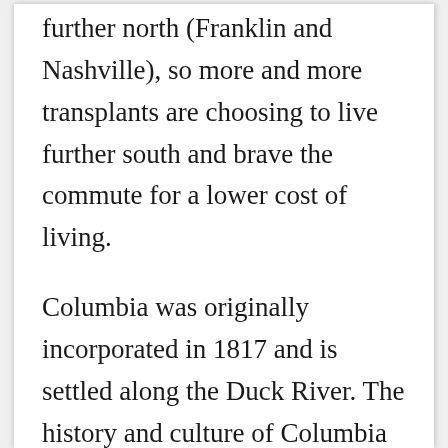further north (Franklin and Nashville), so more and more transplants are choosing to live further south and brave the commute for a lower cost of living.
Columbia was originally incorporated in 1817 and is settled along the Duck River. The history and culture of Columbia are rich, and includes several significant historical markers. The James K. Polk ancestral home, the Athenaeum (a former all-girls